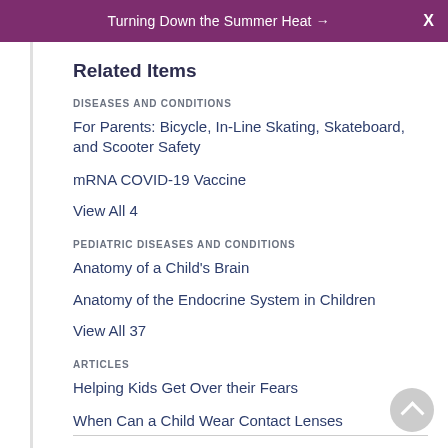Turning Down the Summer Heat → X
Related Items
DISEASES AND CONDITIONS
For Parents: Bicycle, In-Line Skating, Skateboard, and Scooter Safety
mRNA COVID-19 Vaccine
View All 4
PEDIATRIC DISEASES AND CONDITIONS
Anatomy of a Child's Brain
Anatomy of the Endocrine System in Children
View All 37
ARTICLES
Helping Kids Get Over their Fears
When Can a Child Wear Contact Lenses